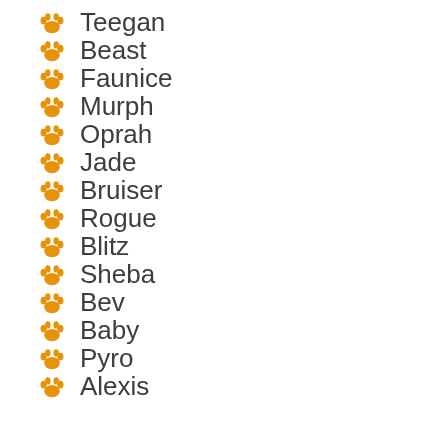Teegan
Beast
Faunice
Murph
Oprah
Jade
Bruiser
Rogue
Blitz
Sheba
Bev
Baby
Pyro
Alexis